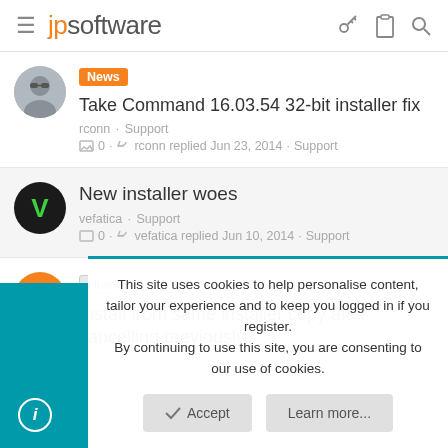jpsoftware
News - Take Command 16.03.54 32-bit installer fix
rconn · Support
0 · rconn replied Jun 23, 2014 · Support
New installer woes
vefatica · Support
0 · vefatica replied Jun 10, 2014 · Support
How to? - Install from same installer copy after cancelling previously
This site uses cookies to help personalise content, tailor your experience and to keep you logged in if you register.
By continuing to use this site, you are consenting to our use of cookies.
Accept   Learn more...